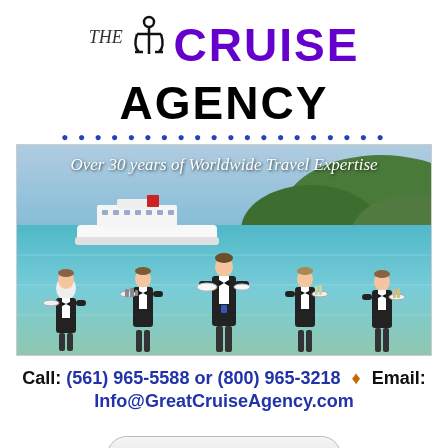[Figure (logo): The Cruise Agency logo with anchor icon, 'THE' in italic serif, 'CRUISE' in large purple bold sans-serif, 'AGENCY' in large black bold sans-serif]
[Figure (photo): Five cruise ship waiters in tuxedos standing in tropical blue ocean water, holding serving trays, with a large cruise ship in the background and green hills. Text overlay: 'Over 30 years of Worldwide Travel Expertise']
Call: (561) 965-5588 or (800) 965-3218 ♦ Email:
Info@GreatCruiseAgency.com
[Figure (other): Like us on Facebook button]